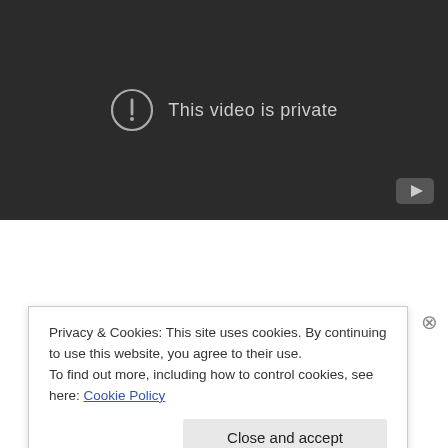[Figure (screenshot): YouTube video player showing 'This video is private' message with an exclamation mark circle icon on a dark background, and a YouTube logo in the bottom right corner.]
The campaign's big question: What would you do if you
Privacy & Cookies: This site uses cookies. By continuing to use this website, you agree to their use.
To find out more, including how to control cookies, see here: Cookie Policy
Close and accept